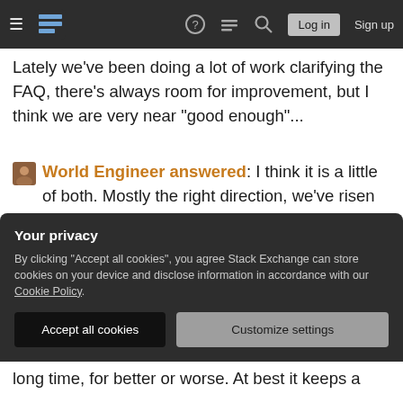Stack Exchange navigation bar with hamburger menu, logo, help, chat, search, Log in, Sign up
Lately we've been doing a lot of work clarifying the FAQ, there's always room for improvement, but I think we are very near "good enough"...
World Engineer answered: I think it is a little of both. Mostly the right direction, we've risen out the quagmire that was the beginning of the site but we are still seen as rather brutal or elitist toward new users even if that response is warranted. We also get great deal of misunderstanding in terms of the site's purpose and scope. Getting Stack Overflow to
Your privacy
By clicking "Accept all cookies", you agree Stack Exchange can store cookies on your device and disclose information in accordance with our Cookie Policy.
Accept all cookies   Customize settings
long time, for better or worse. At best it keeps a